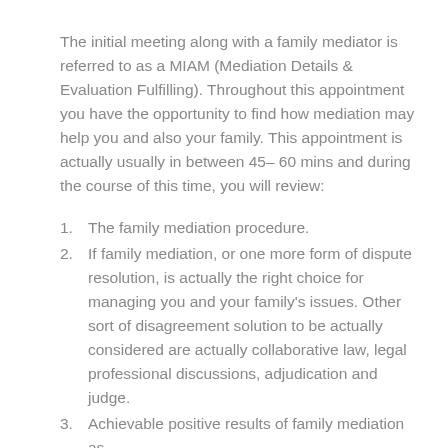The initial meeting along with a family mediator is referred to as a MIAM (Mediation Details & Evaluation Fulfilling). Throughout this appointment you have the opportunity to find how mediation may help you and also your family. This appointment is actually usually in between 45– 60 mins and during the course of this time, you will review:
The family mediation procedure.
If family mediation, or one more form of dispute resolution, is actually the right choice for managing you and your family's issues. Other sort of disagreement solution to be actually considered are actually collaborative law, legal professional discussions, adjudication and judge.
Achievable positive results of family mediation as